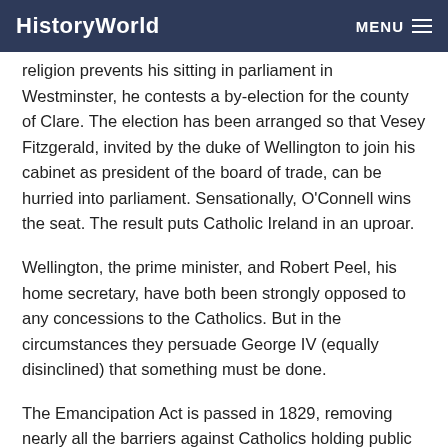HistoryWorld   MENU
religion prevents his sitting in parliament in Westminster, he contests a by-election for the county of Clare. The election has been arranged so that Vesey Fitzgerald, invited by the duke of Wellington to join his cabinet as president of the board of trade, can be hurried into parliament. Sensationally, O'Connell wins the seat. The result puts Catholic Ireland in an uproar.
Wellington, the prime minister, and Robert Peel, his home secretary, have both been strongly opposed to any concessions to the Catholics. But in the circumstances they persuade George IV (equally disinclined) that something must be done.
The Emancipation Act is passed in 1829, removing nearly all the barriers against Catholics holding public office. The